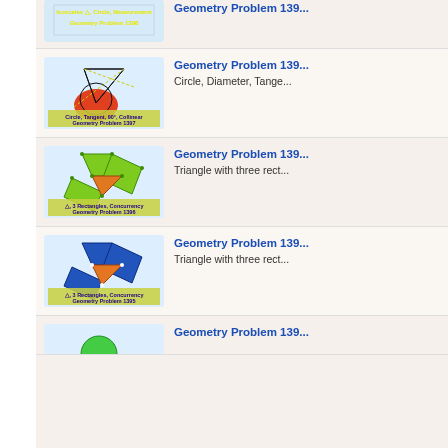[Figure (illustration): Geometry Problem 1398 thumbnail - Isosceles triangle, circle, measurement]
Geometry Problem 1398
[Figure (illustration): Geometry Problem 1397 thumbnail - Circle, Tangent, 90 degrees, Collinear]
Geometry Problem 1397
Circle, Diameter, Tange...
[Figure (illustration): Geometry Problem 1396 thumbnail - Triangle with 3 Rectangles, Concurrency]
Geometry Problem 1396
Triangle with three rect...
[Figure (illustration): Geometry Problem 1395 thumbnail - Triangle with 3 Rectangles, Concurrency]
Geometry Problem 1395
Triangle with three rect...
[Figure (illustration): Geometry Problem 1394 thumbnail - partial view]
Geometry Problem 139...